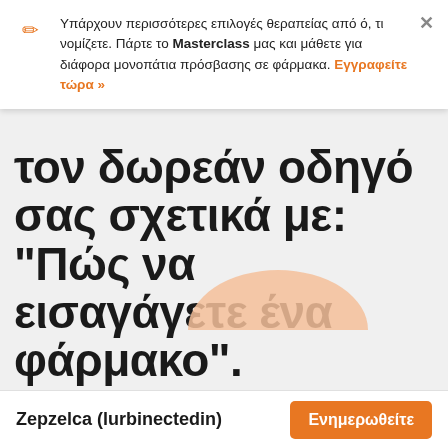Υπάρχουν περισσότερες επιλογές θεραπείας από ό, τι νομίζετε. Πάρτε το Masterclass μας και μάθετε για διάφορα μονοπάτια πρόσβασης σε φάρμακα. Εγγραφείτε τώρα »
τον δωρεάν οδηγό σας σχετικά με: "Πώς να εισαγάγετε ένα φάρμακο".
Επιλέξτε τη χώρα που προτιμάτε και εισάγετε το email σας για να λάβετε έναν οδηγό βήμα προς βήμα σχετικά με το πώς μπορούμε να σας βοηθήσουμε να εισαγάγετε νόμιμα και με ασφάλεια ένα φάρμακο που δεν έχει εγκριθεί στη χώρα σας.
Zepzelca (lurbinectedin)
Ενημερωθείτε